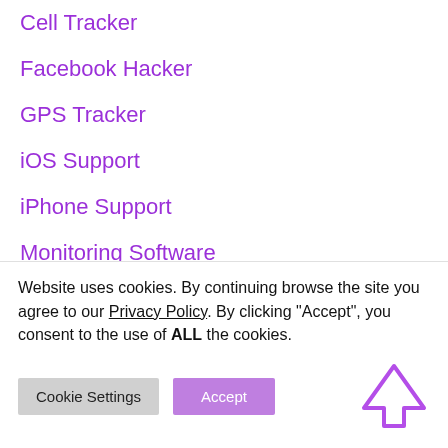Cell Tracker
Facebook Hacker
GPS Tracker
iOS Support
iPhone Support
Monitoring Software
News
Parental Control
Phone Location
(partially visible item)
Website uses cookies. By continuing browse the site you agree to our Privacy Policy. By clicking "Accept", you consent to the use of ALL the cookies.